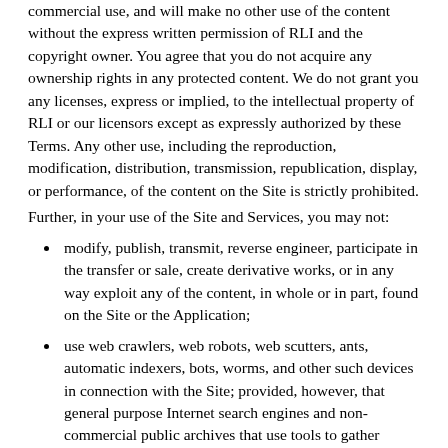commercial use, and will make no other use of the content without the express written permission of RLI and the copyright owner. You agree that you do not acquire any ownership rights in any protected content. We do not grant you any licenses, express or implied, to the intellectual property of RLI or our licensors except as expressly authorized by these Terms. Any other use, including the reproduction, modification, distribution, transmission, republication, display, or performance, of the content on the Site is strictly prohibited.
Further, in your use of the Site and Services, you may not:
modify, publish, transmit, reverse engineer, participate in the transfer or sale, create derivative works, or in any way exploit any of the content, in whole or in part, found on the Site or the Application;
use web crawlers, web robots, web scutters, ants, automatic indexers, bots, worms, and other such devices in connection with the Site; provided, however, that general purpose Internet search engines and non-commercial public archives that use tools to gather